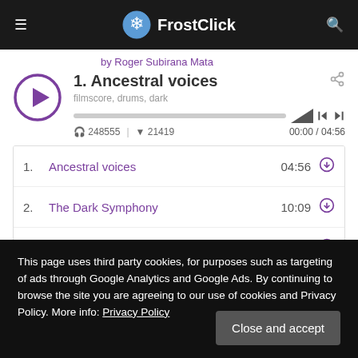FrostClick
by Roger Subirana Mata
1. Ancestral voices
filmscore, drums, dark
248555 | 21419
00:00 / 04:56
| # | Title | Duration | Action |
| --- | --- | --- | --- |
| 1. | Ancestral voices | 04:56 | download |
| 2. | The Dark Symphony | 10:09 | download |
| 3. | Fragile | 03:02 | download |
This page uses third party cookies, for purposes such as targeting of ads through Google Analytics and Google Ads. By continuing to browse the site you are agreeing to our use of cookies and Privacy Policy. More info: Privacy Policy